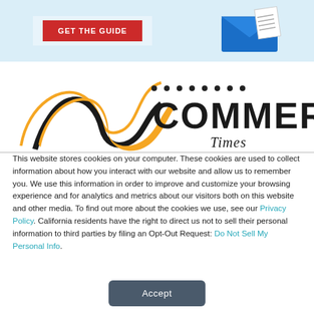[Figure (screenshot): Top banner with a red 'GET THE GUIDE' button on the left and an email/envelope icon with document on the right, on a light blue background]
[Figure (logo): eCommerce Times logo — stylized 'S' shape with orange and black swirl, dotted line above, bold black text 'COMMERCE' and cursive text below]
This website stores cookies on your computer. These cookies are used to collect information about how you interact with our website and allow us to remember you. We use this information in order to improve and customize your browsing experience and for analytics and metrics about our visitors both on this website and other media. To find out more about the cookies we use, see our Privacy Policy. California residents have the right to direct us not to sell their personal information to third parties by filing an Opt-Out Request: Do Not Sell My Personal Info.
Accept